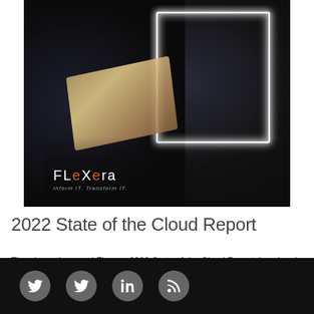[Figure (photo): Dark cover image of a person in a suit holding a tablet, with a glowing white geometric square frame overlay. Flexera logo and tagline 'Inform IT. Transform IT.' visible in lower left of image.]
2022 State of the Cloud Report
The eleventh annual Flexera 2022 State of the Cloud Report (previously known as the RightScale State of the Cloud Report) explores the thinking of 753 respondents
[Figure (infographic): Dark footer bar with four social media icons: two Twitter bird icons (circles), one LinkedIn icon (circle), one RSS feed icon (circle), all in gray circles on black background.]